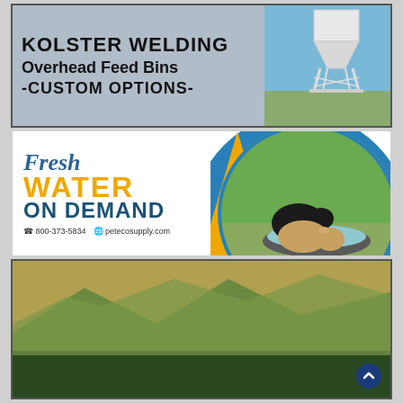[Figure (illustration): Kolster Welding advertisement showing overhead feed bins with text: KOLSTER WELDING, Overhead Feed Bins, -CUSTOM OPTIONS-. Photo shows a white metal overhead feed bin structure on the right side.]
[Figure (illustration): Fresh Water on Demand advertisement. Left side shows text 'Fresh WATER ON DEMAND' with phone 800-373-5834 and website petecosupply.com. Right side shows photo of calves drinking from a water trough. Blue and yellow design elements.]
[Figure (illustration): World Class Ranches advertisement. Shows WCR logo (circular brand mark) on left, text 'YOUR BRAND FOR RANCHES & TROPHY PROPERTIES' in center, and 'WorldClassRanches.com' at bottom. Background shows mountain landscape.]